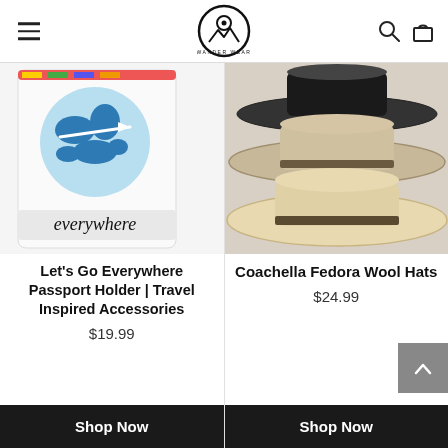Wander Wear
[Figure (photo): Passport holder with globe/map graphic and 'everywhere' text]
Let's Go Everywhere Passport Holder | Travel Inspired Accessories
$19.99
[Figure (photo): Stacked fedora wool hats in beige and patterned colors]
Coachella Fedora Wool Hats
$24.99
Shop Now
Shop Now